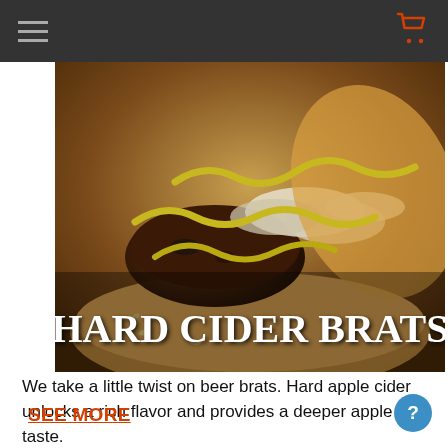Navigation bar with hamburger menu and shopping cart icon
[Figure (photo): Close-up photo of a hard cider brat in a bun topped with yellow mustard and caramelized onions. Bold white serif text reads 'HARD CIDER BRATS' overlaid on the lower portion of the image.]
We take a little twist on beer brats. Hard apple cider unlocks a rich flavor and provides a deeper apple taste.
SEE MORE